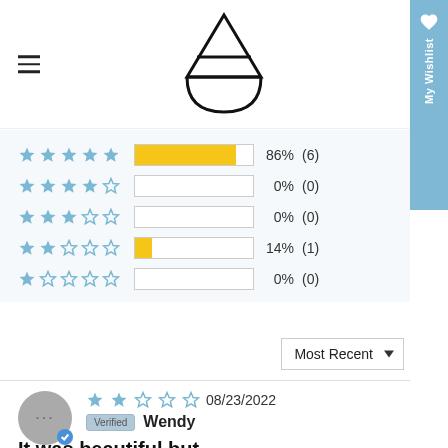[Figure (logo): Abstract logo with triangle and half-circle (drop/alchemical symbol)]
[Figure (infographic): Star rating distribution bars: 5-star 86% (6), 4-star 0% (0), 3-star 0% (0), 2-star 14% (1), 1-star 0% (0)]
Most Recent ▼
★★☆☆☆ 08/23/2022 Verified Wendy
It was beautiful but